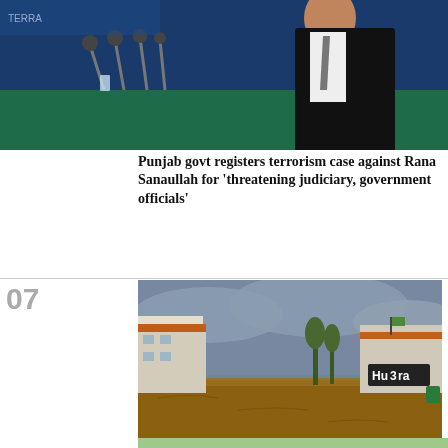[Figure (photo): Man in black suit at a press conference podium with microphones, blue background]
Punjab govt registers terrorism case against Rana Sanaullah for 'threatening judiciary, government officials'
[Figure (photo): Flooded street in a town with commercial buildings and murky brown floodwater, overcast sky]
Rain emergency declared in several KP districts as residents brace for 'high to very high' floods
[Figure (photo): Partial view of another article image at the bottom]